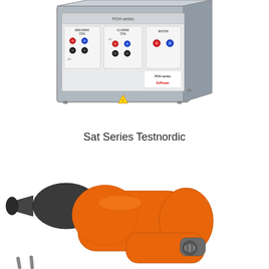[Figure (photo): A gray electronic test equipment box (POH series, DV Power brand) with red and blue connector terminals labeled BREAKING COIL, CLOSING COIL (with DC/AC labels), and MOTOR on the front panel.]
Sat Series Testnordic
[Figure (photo): An orange and dark gray handheld tool (possibly a circuit breaker analyzer probe or similar testing device) with a trigger/button on the handle, angled nozzle tip, and small metal probe tips visible at the bottom left.]